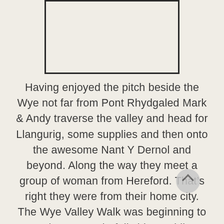[Figure (other): A rectangular bordered box, likely a placeholder for an image, with a light beige background and dark border.]
Having enjoyed the pitch beside the Wye not far from Pont Rhydgaled Mark & Andy traverse the valley and head for Llangurig, some supplies and then onto the awesome Nant Y Dernol and beyond. Along the way they meet a group of woman from Hereford. That’s right they were from their home city. The Wye Valley Walk was beginning to turn into a wonderfully bizarre hike. More of the same to come in this episode.